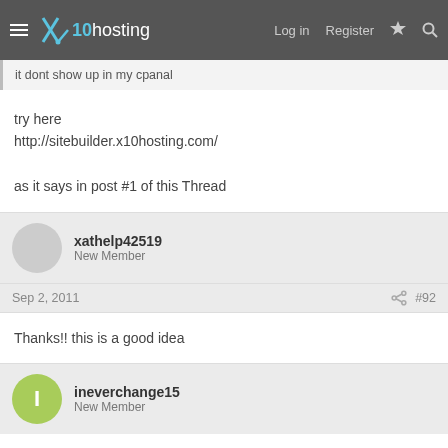x10hosting — Log in  Register
it dont show up in my cpanal
try here
http://sitebuilder.x10hosting.com/

as it says in post #1 of this Thread
xathelp42519
New Member
Sep 2, 2011  #92
Thanks!! this is a good idea
ineverchange15
New Member